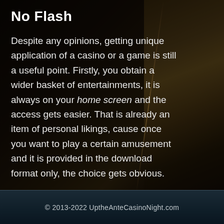No Flash
Despite any opinions, getting unique application of a casino or a game is still a useful point. Firstly, you obtain a wider basket of entertainments, it is always on your home screen and the access gets easier. That is already an item of personal likings, cause once you want to play a certain amusement and it is provided in the download format only, the choice gets obvious.
© 2013-2022 UptheAnteCasinoNight.com